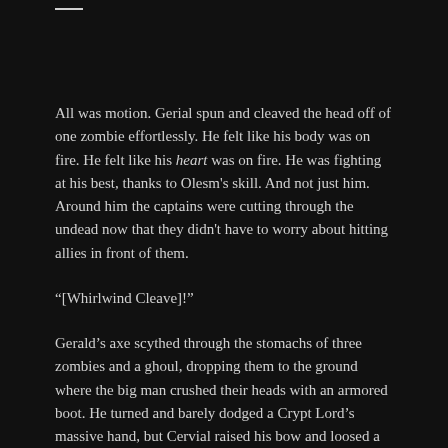—
All was motion. Gerial spun and cleaved the head off of one zombie effortlessly. He felt like his body was on fire. He felt like his heart was on fire. He was fighting at his best, thanks to Olesm's skill. And not just him. Around him the captains were cutting through the undead now that they didn't have to worry about hitting allies in front of them.
“[Whirlwind Cleave]!”
Gerald’s axe scythed through the stomachs of three zombies and a ghoul, dropping them to the ground where the big man crushed their heads with an armored boot. He turned and barely dodged a Crypt Lord’s massive hand, but Cervial raised his bow and loosed a bolt right into the monster’s face.
“[Point Blank Shot]!”